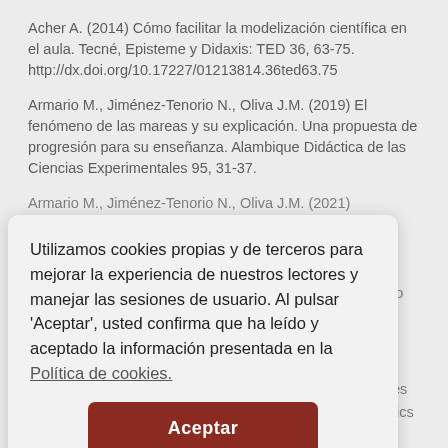Acher A. (2014) Cómo facilitar la modelización científica en el aula. Tecné, Episteme y Didaxis: TED 36, 63-75. http://dx.doi.org/10.17227/01213814.36ted63.75
Armario M., Jiménez-Tenorio N., Oliva J.M. (2019) El fenómeno de las mareas y su explicación. Una propuesta de progresión para su enseñanza. Alambique Didáctica de las Ciencias Experimentales 95, 31-37.
Armario M., Jiménez-Tenorio N., Oliva J.M. (2021) Secuencia [partially visible]
Utilizamos cookies propias y de terceros para mejorar la experiencia de nuestros lectores y manejar las sesiones de usuario. Al pulsar 'Aceptar', usted confirma que ha leído y aceptado la información presentada en la Política de cookies.
Ballantype R. (2004) Young student's conceptions of the marine [partially visible]